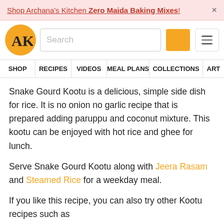Shop Archana's Kitchen Zero Maida Baking Mixes!
[Figure (logo): Archana's Kitchen logo — gold circle with AK initials]
Snake Gourd Kootu is a delicious, simple side dish for rice. It is no onion no garlic recipe that is prepared adding paruppu and coconut mixture. This kootu can be enjoyed with hot rice and ghee for lunch.
Serve Snake Gourd Kootu along with Jeera Rasam and Steamed Rice for a weekday meal.
If you like this recipe, you can also try other Kootu recipes such as